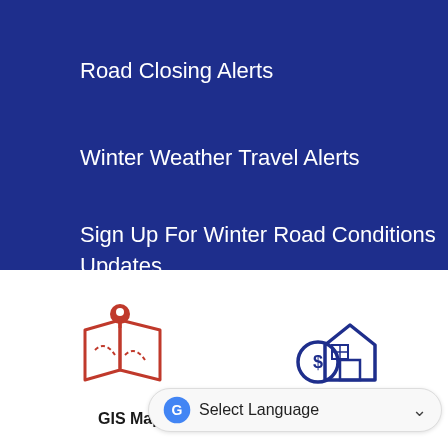Road Closing Alerts
Winter Weather Travel Alerts
Sign Up For Winter Road Conditions Updates
[Figure (illustration): Orange map/location pin icon over an open book/map with dashed route lines]
GIS Map
[Figure (illustration): Dark blue icon of a house with a dollar sign coin in front]
Property Taxes
[Figure (other): Google Translate widget bar with 'Select Language' and dropdown arrow]